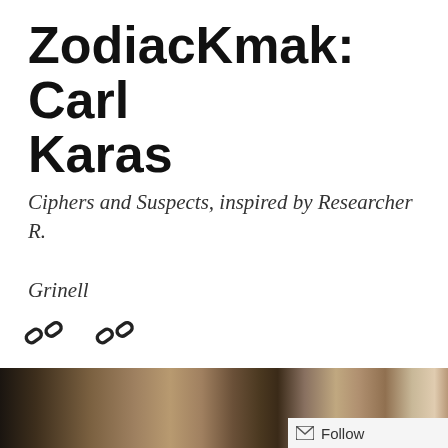ZodiacKmak: Carl Karas
Ciphers and Suspects, inspired by Researcher R. Grinell
[Figure (screenshot): Menu button with hamburger icon and MENU text, inside a rounded rectangle border]
[Figure (illustration): Two chain link icons side by side]
[Figure (photo): Photograph of a man in period clothing standing in front of a wooden door, partially cropped]
Follow